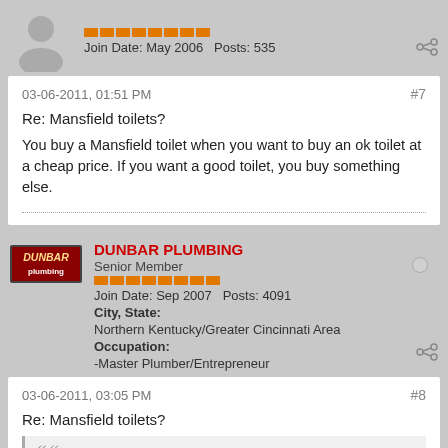Join Date: May 2006  Posts: 535
03-06-2011, 01:51 PM  #7
Re: Mansfield toilets?
You buy a Mansfield toilet when you want to buy an ok toilet at a cheap price. If you want a good toilet, you buy something else.
DUNBAR PLUMBING
Senior Member
Join Date: Sep 2007  Posts: 4091
City, State: Northern Kentucky/Greater Cincinnati Area
Occupation: -Master Plumber/Entrepreneur
03-06-2011, 03:05 PM  #8
Re: Mansfield toilets?
Originally posted by Clipper City Plumber